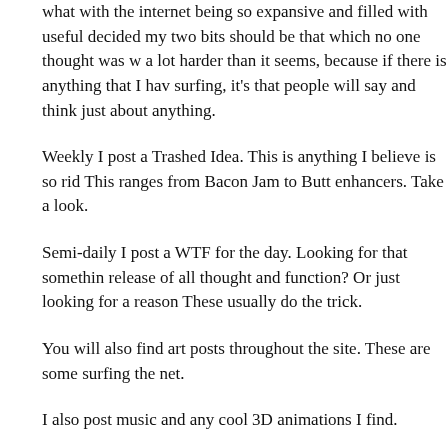what with the internet being so expansive and filled with useful decided my two bits should be that which no one thought was w a lot harder than it seems, because if there is anything that I hav surfing, it's that people will say and think just about anything.
Weekly I post a Trashed Idea. This is anything I believe is so rid This ranges from Bacon Jam to Butt enhancers. Take a look.
Semi-daily I post a WTF for the day. Looking for that somethin release of all thought and function? Or just looking for a reason These usually do the trick.
You will also find art posts throughout the site. These are some surfing the net.
I also post music and any cool 3D animations I find.
If you have any suggestions, feel free to email me here.